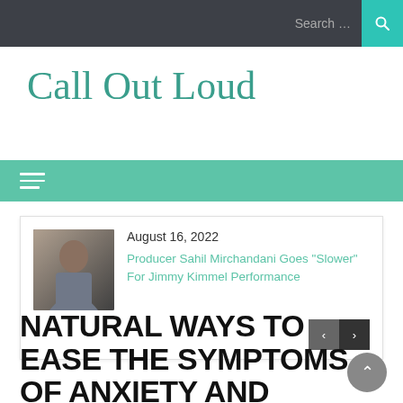Search ...
Call Out Loud
[Figure (screenshot): Green navigation bar with hamburger menu icon]
[Figure (photo): Article card with thumbnail photo of a man, dated August 16, 2022, with link 'Producer Sahil Mirchandani Goes "Slower" For Jimmy Kimmel Performance' and left/right navigation arrows]
NATURAL WAYS TO EASE THE SYMPTOMS OF ANXIETY AND INSOMNIA